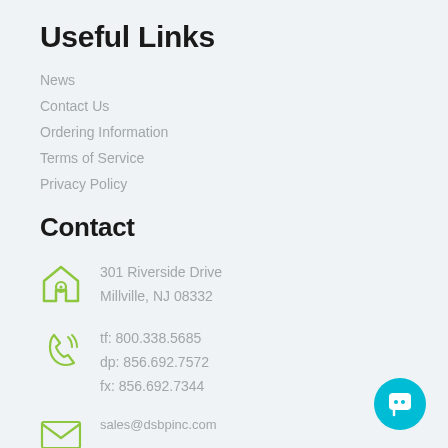Useful Links
News
Contact Us
Ordering Information
Terms of Service
Privacy Policy
Contact
301 Riverside Drive
Millville, NJ 08332
tf: 800.338.5685
dp: 856.692.7572
fx: 856.692.7344
sales@dsbpinc.com